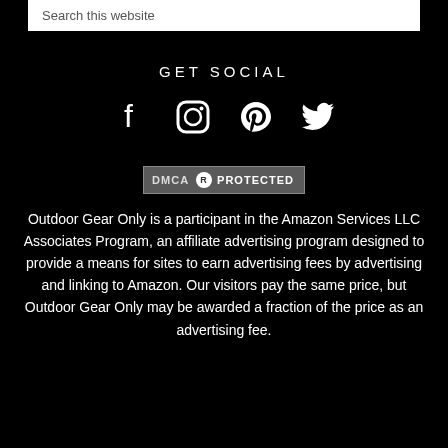Search this website
GET SOCIAL
[Figure (infographic): Social media icons: Facebook, Instagram, Pinterest, Twitter]
[Figure (logo): DMCA PROTECTED badge]
Outdoor Gear Only is a participant in the Amazon Services LLC Associates Program, an affiliate advertising program designed to provide a means for sites to earn advertising fees by advertising and linking to Amazon. Our visitors pay the same price, but Outdoor Gear Only may be awarded a fraction of the price as an advertising fee.